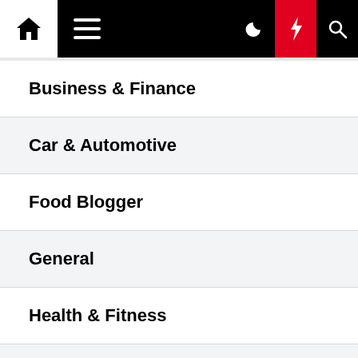Navigation bar with home, hamburger menu, moon/dark mode, lightning/breaking news, and search icons
Business & Finance
Car & Automotive
Food Blogger
General
Health & Fitness
Home Design
Law & Legal
Lifestyle
Music